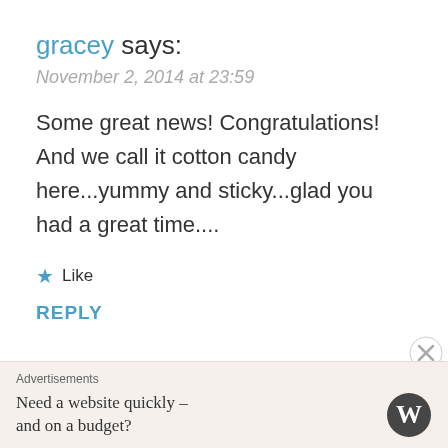gracey says:
November 2, 2014 at 23:59
Some great news! Congratulations! And we call it cotton candy here...yummy and sticky...glad you had a great time....
★ Like
REPLY
Christine says:
Advertisements
Need a website quickly – and on a budget?